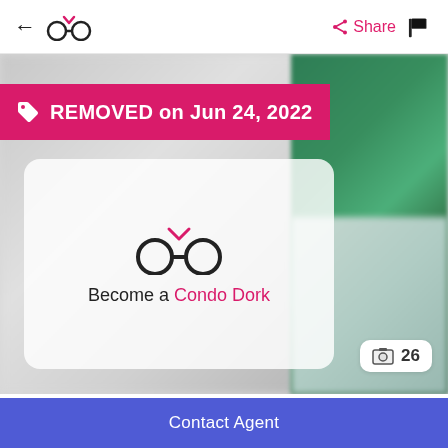← 🕶 Share 🚩
[Figure (screenshot): Real estate listing image area with blurred property photos. Left side shows blurred grey/neutral property image. Right side shows blurred green exterior image. A white semi-transparent card overlays the center with a glasses logo and 'Become a Condo Dork' text. A photo count badge shows 26 in the lower right.]
REMOVED on Jun 24, 2022
Become a Condo Dork
26
Listed on Jun 15, 2022
1535 Grand Marais Road West
Unit 101
Contact Agent